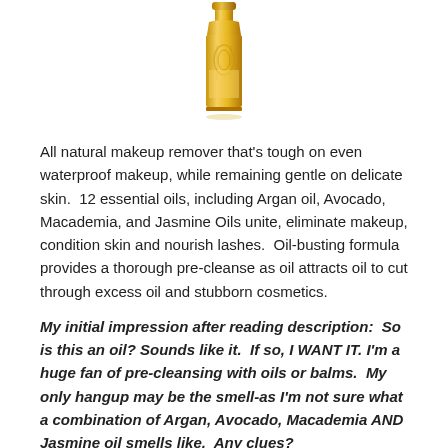[Figure (photo): A decorative golden/amber colored bottle of makeup remover product, tall and elegant with ornate detailing, shown against white background with slight reflection]
All natural makeup remover that's tough on even waterproof makeup, while remaining gentle on delicate skin.  12 essential oils, including Argan oil, Avocado, Macademia, and Jasmine Oils unite, eliminate makeup, condition skin and nourish lashes.  Oil-busting formula provides a thorough pre-cleanse as oil attracts oil to cut through excess oil and stubborn cosmetics.
My initial impression after reading description:  So is this an oil? Sounds like it.  If so, I WANT IT. I'm a huge fan of pre-cleansing with oils or balms.  My only hangup may be the smell-as I'm not sure what a combination of Argan, Avocado, Macademia AND Jasmine oil smells like.  Any clues?
Dirty Girl detoxifying mudd masque, Normal, sensitive, oil...